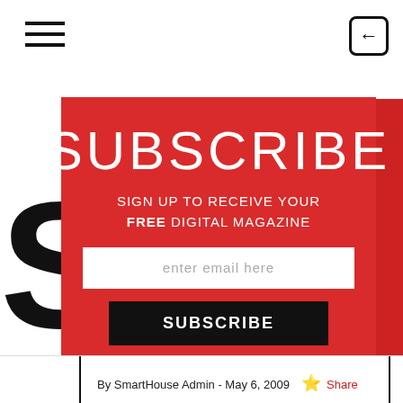[Figure (screenshot): Hamburger menu icon (three horizontal lines) in top-left corner of app interface]
[Figure (screenshot): Back navigation button (left arrow in rounded rectangle) in top-right corner]
SUBSCRIBE
SIGN UP TO RECEIVE YOUR FREE DIGITAL MAGAZINE
enter email here
SUBSCRIBE
By SmartHouse Admin - May 6, 2009   Share